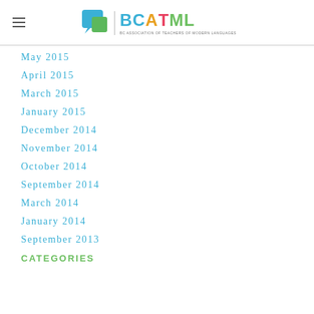BCATML — BC Association of Teachers of Modern Languages
May 2015
April 2015
March 2015
January 2015
December 2014
November 2014
October 2014
September 2014
March 2014
January 2014
September 2013
CATEGORIES